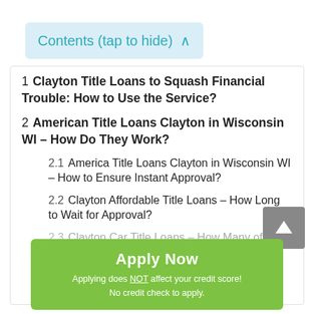Contents (tap to hide) ^
1  Clayton Title Loans to Squash Financial Trouble: How to Use the Service?
2  American Title Loans Clayton in Wisconsin WI – How Do They Work?
2.1  America Title Loans Clayton in Wisconsin WI – How to Ensure Instant Approval?
2.2  Clayton Affordable Title Loans – How Long to Wait for Approval?
2.3  Clayton Car Title Loans – How Many of Them Are Available at a Time?
2.4  Online Title Loans Clayton – Extra Charges and Rates
[Figure (other): Green 'Apply Now' button overlay with text: 'Applying does NOT affect your credit score! No credit check to apply.']